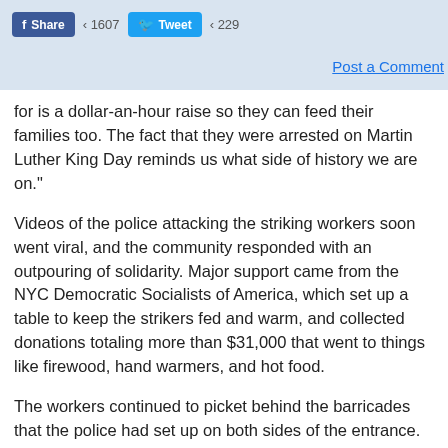[Figure (screenshot): Social media share buttons: Facebook Share with count 1607 and Twitter Tweet with count 229]
Post a Comment
for is a dollar-an-hour raise so they can feed their families too. The fact that they were arrested on Martin Luther King Day reminds us what side of history we are on."
Videos of the police attacking the striking workers soon went viral, and the community responded with an outpouring of solidarity. Major support came from the NYC Democratic Socialists of America, which set up a table to keep the strikers fed and warm, and collected donations totaling more than $31,000 that went to things like firewood, hand warmers, and hot food.
The workers continued to picket behind the barricades that the police had set up on both sides of the entrance. They resorted to shouting down scabs and co-workers who were crossing the picket line. The police attempted to stop the strikers from trying to talk people out of crossing the line, in